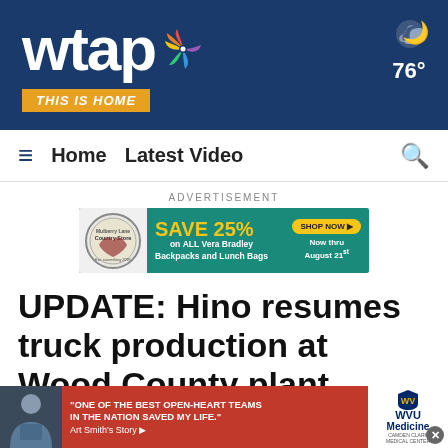[Figure (logo): WTAP NBC affiliate logo with peacock icon and 'This Is Home' tagline, weather showing 76 degrees, on dark blue header background]
[Figure (screenshot): Navigation bar with hamburger menu, Home and Latest Video links, and search icon]
ADVERTISEMENT
[Figure (photo): Advertisement banner for Mulberry Lane Country Store: SAVE 25% on ALL Vera Bradley Backpacks and Lunch Bags, SHOP NOW, Now thru August 21st]
UPDATE: Hino resumes truck production at Wood County plant
[Figure (photo): WVU Medicine advertisement: 'One of the best open-heart teams in the nation saved my life.' Art Smith's Story, with photo of elderly man]